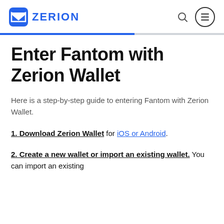ZERION
Enter Fantom with Zerion Wallet
Here is a step-by-step guide to entering Fantom with Zerion Wallet.
1. Download Zerion Wallet for iOS or Android.
2. Create a new wallet or import an existing wallet. You can import an existing